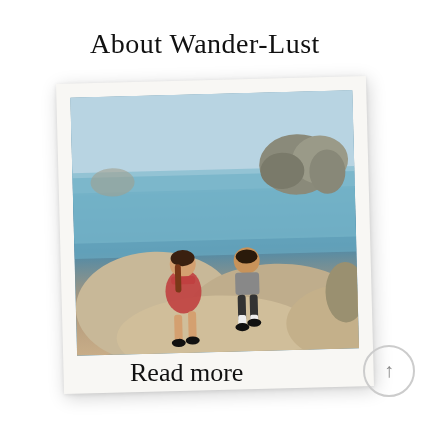About Wander-Lust
[Figure (photo): Polaroid-style photo of two people sitting on coastal rocks with the ocean and rocky cliffs in the background]
Read more